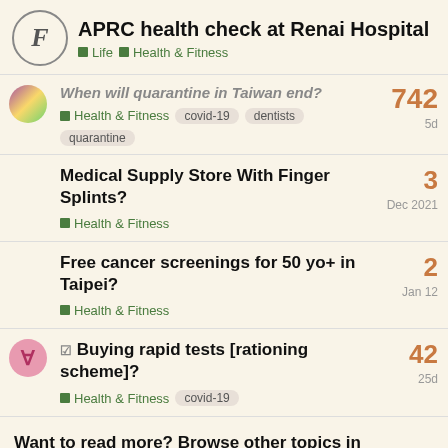APRC health check at Renai Hospital — Life, Health & Fitness
When will quarantine in Taiwan end? — Health & Fitness, covid-19, dentists, quarantine — 742 replies — 5d
Medical Supply Store With Finger Splints? — Health & Fitness — 3 replies — Dec 2021
Free cancer screenings for 50 yo+ in Taipei? — Health & Fitness — 2 replies — Jan 12
☑ Buying rapid tests [rationing scheme]? — Health & Fitness, covid-19 — 42 replies — 25d
Want to read more? Browse other topics in Health & Fitness or view latest topics.